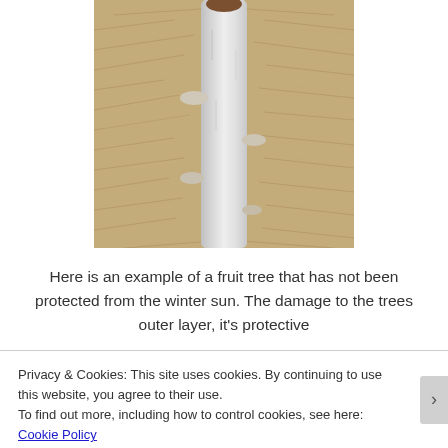[Figure (photo): Close-up photograph of a fruit tree trunk coated white (painted/whitewashed) against a background of dry straw/hay, showing winter sun damage protection context.]
Here is an example of a fruit tree that has not been protected from the winter sun. The damage to the trees outer layer, it's protective
Privacy & Cookies: This site uses cookies. By continuing to use this website, you agree to their use.
To find out more, including how to control cookies, see here: Cookie Policy
Close and accept